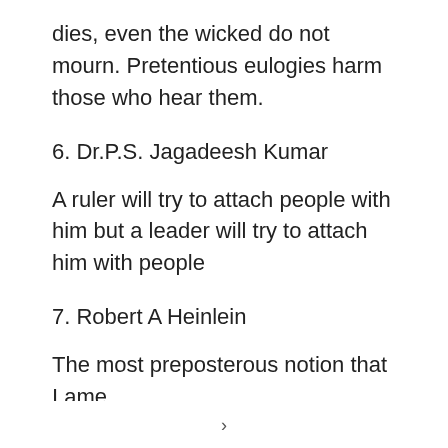dies, even the wicked do not mourn. Pretentious eulogies harm those who hear them.
6. Dr.P.S. Jagadeesh Kumar
A ruler will try to attach people with him but a leader will try to attach him with people
7. Robert A Heinlein
The most preposterous notion that I ame